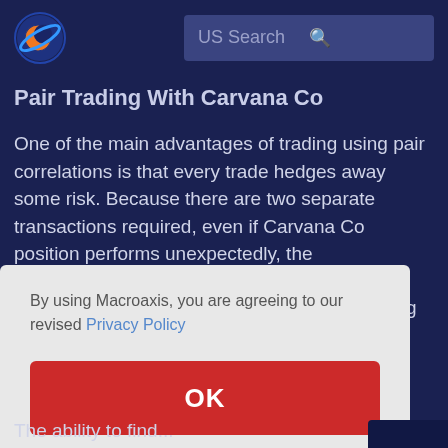US Search
Pair Trading With Carvana Co
One of the main advantages of trading using pair correlations is that every trade hedges away some risk. Because there are two separate transactions required, even if Carvana Co position performs unexpectedly, the
By using Macroaxis, you are agreeing to our revised Privacy Policy
OK